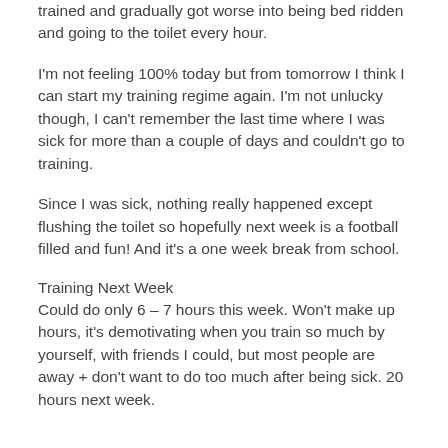trained and gradually got worse into being bed ridden and going to the toilet every hour.
I'm not feeling 100% today but from tomorrow I think I can start my training regime again. I'm not unlucky though, I can't remember the last time where I was sick for more than a couple of days and couldn't go to training.
Since I was sick, nothing really happened except flushing the toilet so hopefully next week is a football filled and fun! And it's a one week break from school.
Training Next Week
Could do only 6 – 7 hours this week. Won't make up hours, it's demotivating when you train so much by yourself, with friends I could, but most people are away + don't want to do too much after being sick. 20 hours next week.